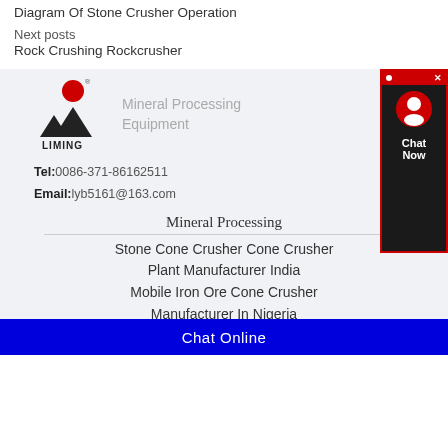Diagram Of Stone Crusher Operation
Next posts
Rock Crushing Rockcrusher
[Figure (logo): Liming logo with red circle dot and black triangular mountain shapes, with text 'Mineral Processing Equipment' in gray]
Tel:0086-371-86162511
Email:lyb5161@163.com
Mineral Processing
Stone Cone Crusher Cone Crusher Plant Manufacturer India
Mobile Iron Ore Cone Crusher Manufacturer In Nigeria
Portable Gold Ore Cone Crusher
Chat Online